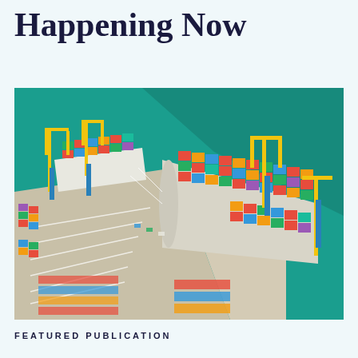Happening Now
[Figure (photo): Aerial view of a busy shipping container port with colorful stacked containers, large cargo ships docked at the pier, yellow gantry cranes, and teal-colored harbor water.]
FEATURED PUBLICATION